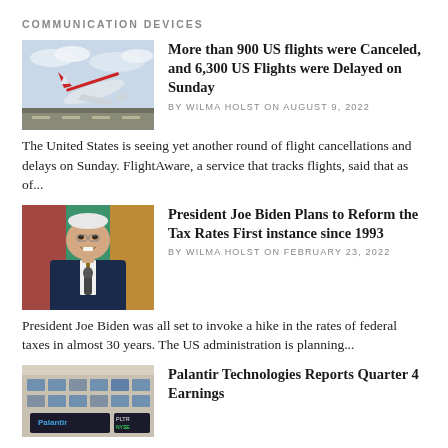COMMUNICATION DEVICES
More than 900 US flights were Canceled, and 6,300 US Flights were Delayed on Sunday
BY WILMA HOLST ON AUGUST 9, 2022
[Figure (photo): Airplane taking off from airport runway against blue sky]
The United States is seeing yet another round of flight cancellations and delays on Sunday. FlightAware, a service that tracks flights, said that as of...
President Joe Biden Plans to Reform the Tax Rates First instance since 1993
BY WILMA HOLST ON FEBRUARY 23, 2022
[Figure (photo): President Joe Biden smiling, wearing a blue suit with striped tie, in front of flags]
President Joe Biden was all set to invoke a hike in the rates of federal taxes in almost 30 years. The US administration is planning...
Palantir Technologies Reports Quarter 4 Earnings
[Figure (photo): Palantir Technologies NYSE sign/building exterior]